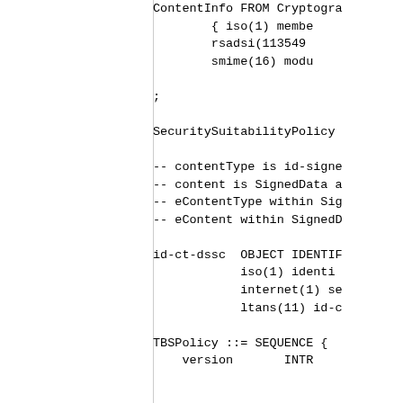ContentInfo FROM Cryptogra
        { iso(1) membe
        rsadsi(113549
        smime(16) modu

;

SecuritySuitabilityPolicy

-- contentType is id-signe
-- content is SignedData a
-- eContentType within Sig
-- eContent within SignedD

id-ct-dssc  OBJECT IDENTIF
            iso(1) identi
            internet(1) se
            ltans(11) id-c

TBSPolicy ::= SEQUENCE {
    version       INTR